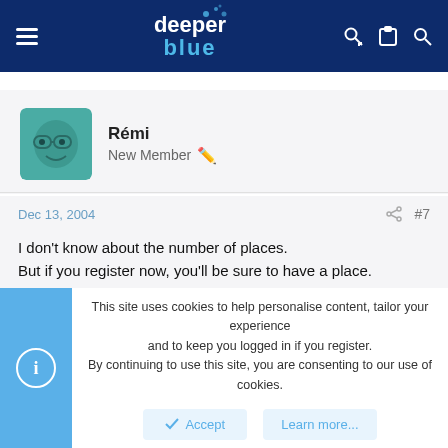deeper blue — navigation header with hamburger menu, logo, and icons
[Figure (illustration): User avatar — teal/green cartoon character with glasses]
Rémi
New Member
Dec 13, 2004
#7
I don't know about the number of places.
But if you register now, you'll be sure to have a place.
It cost only £10
Ps: I can pay for you in Euro if you give me some Pounds.
This site uses cookies to help personalise content, tailor your experience and to keep you logged in if you register.
By continuing to use this site, you are consenting to our use of cookies.